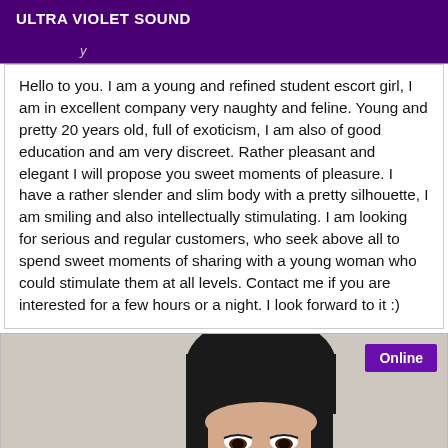ULTRA VIOLET SOUND
Hello to you. I am a young and refined student escort girl, I am in excellent company very naughty and feline. Young and pretty 20 years old, full of exoticism, I am also of good education and am very discreet. Rather pleasant and elegant I will propose you sweet moments of pleasure. I have a rather slender and slim body with a pretty silhouette, I am smiling and also intellectually stimulating. I am looking for serious and regular customers, who seek above all to spend sweet moments of sharing with a young woman who could stimulate them at all levels. Contact me if you are interested for a few hours or a night. I look forward to it :)
[Figure (photo): Photo of a young woman with dark hair, face visible from forehead to just above eyes, with an 'Online' badge in the upper right corner]